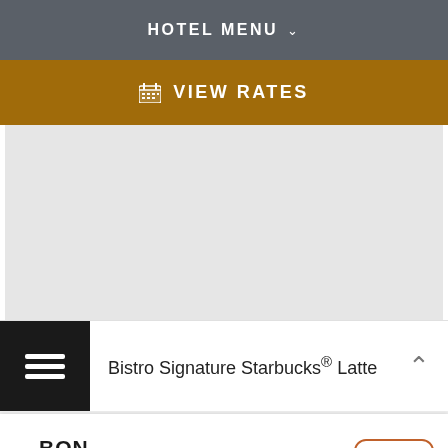HOTEL MENU
VIEW RATES
[Figure (screenshot): Gray content placeholder area representing a hotel page section]
Bistro Signature Starbucks® Latte
Access More With Marriott Bonvoy™ Unlock your stay on the app